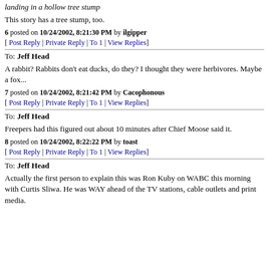landing in a hollow tree stump
This story has a tree stump, too.
6 posted on 10/24/2002, 8:21:30 PM by ilgipper
[ Post Reply | Private Reply | To 1 | View Replies]
To: Jeff Head
A rabbit? Rabbits don't eat ducks, do they? I thought they were herbivores. Maybe a fox...
7 posted on 10/24/2002, 8:21:42 PM by Cacophonous
[ Post Reply | Private Reply | To 1 | View Replies]
To: Jeff Head
Freepers had this figured out about 10 minutes after Chief Moose said it.
8 posted on 10/24/2002, 8:22:22 PM by toast
[ Post Reply | Private Reply | To 1 | View Replies]
To: Jeff Head
Actually the first person to explain this was Ron Kuby on WABC this morning with Curtis Sliwa. He was WAY ahead of the TV stations, cable outlets and print media.